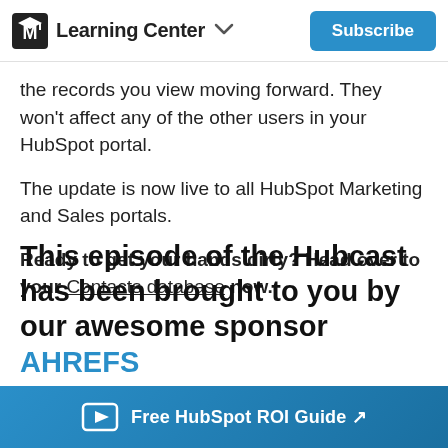Learning Center
the records you view moving forward. They won't affect any of the other users in your HubSpot portal.
The update is now live to all HubSpot Marketing and Sales portals.
Ready to get your hands dirty? Head over to your Contacts database now.
This episode of the Hubcast has been brought to you by our awesome sponsor AHREFS
Free HubSpot ROI Guide ↗